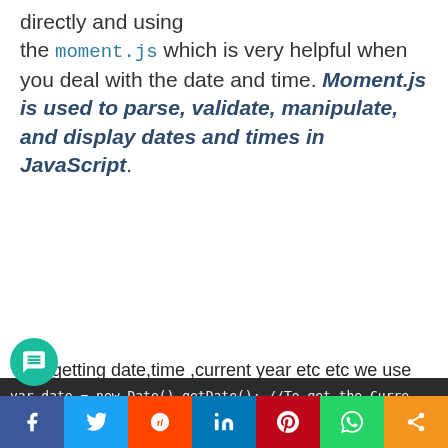directly and using the moment.js which is very helpful when you deal with the date and time. Moment.js is used to parse, validate, manipulate, and display dates and times in JavaScript.
For getting date,time ,current year etc etc we use these functions
var date = new Date().getDate(); //To get the Curre
var month = new Date().getMonth() + 1; //To get the